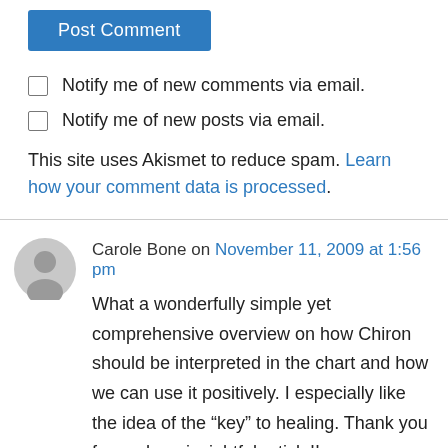Post Comment
Notify me of new comments via email.
Notify me of new posts via email.
This site uses Akismet to reduce spam. Learn how your comment data is processed.
Carole Bone on November 11, 2009 at 1:56 pm
What a wonderfully simple yet comprehensive overview on how Chiron should be interpreted in the chart and how we can use it positively. I especially like the idea of the “key” to healing. Thank you for such an insightful article!!
Carole